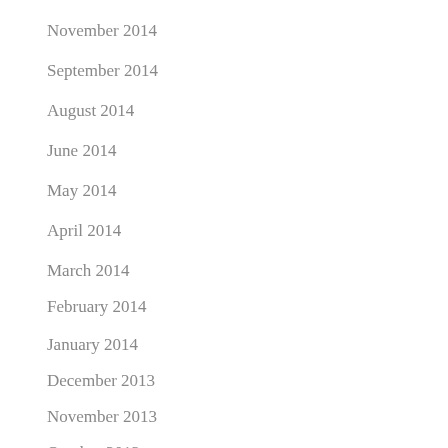November 2014
September 2014
August 2014
June 2014
May 2014
April 2014
March 2014
February 2014
January 2014
December 2013
November 2013
October 2013